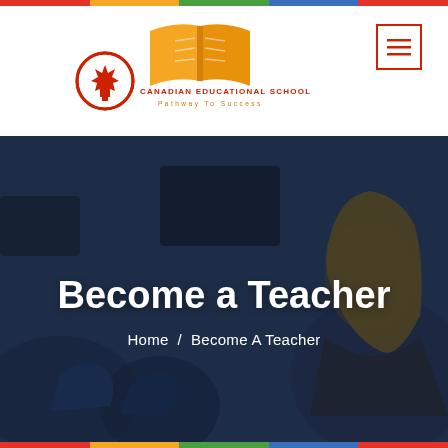[Figure (logo): Canadian Educational School logo with open book in orange/yellow, maple leaf emblem in red circle, school name in red uppercase letters, tagline 'Pathway To Success' in orange]
[Figure (other): Hamburger menu icon button with red border, three horizontal red lines inside]
[Figure (photo): Blurred classroom background photo showing students studying, dark blue-grey tones, used as hero banner background]
Become a Teacher
Home / Become A Teacher